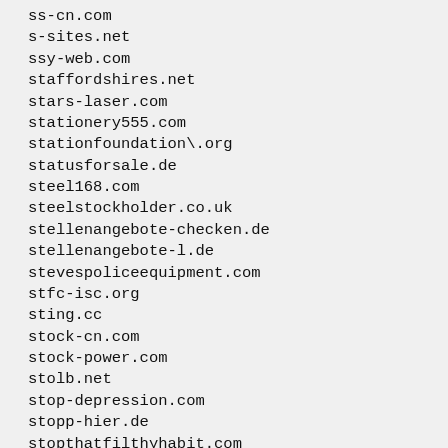ss-cn.com
s-sites.net
ssy-web.com
staffordshires.net
stars-laser.com
stationery555.com
stationfoundation\.org
statusforsale.de
steel168.com
steelstockholder.co.uk
stellenangebote-checken.de
stellenangebote-l.de
stevespoliceequipment.com
stfc-isc.org
sting.cc
stock-cn.com
stock-power.com
stolb.net
stop-depression.com
stopp-hier.de
stopthatfilthyhabit.com
stories-adult.net
stories--archive.com
stories-inc.com
striemline.de